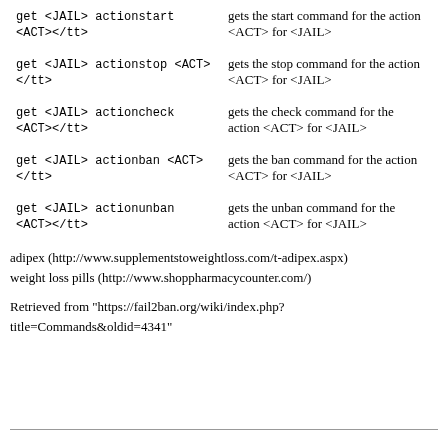| Command | Description |
| --- | --- |
| <tt>get <JAIL> actionstart <ACT></tt> | gets the start command for the action <ACT> for <JAIL> |
| <tt>get <JAIL> actionstop <ACT></tt> | gets the stop command for the action <ACT> for <JAIL> |
| <tt>get <JAIL> actioncheck <ACT></tt> | gets the check command for the action <ACT> for <JAIL> |
| <tt>get <JAIL> actionban <ACT></tt> | gets the ban command for the action <ACT> for <JAIL> |
| <tt>get <JAIL> actionunban <ACT></tt> | gets the unban command for the action <ACT> for <JAIL> |
adipex (http://www.supplementstoweightloss.com/t-adipex.aspx)
weight loss pills (http://www.shoppharmacycounter.com/)
Retrieved from "https://fail2ban.org/wiki/index.php?title=Commands&oldid=4341"